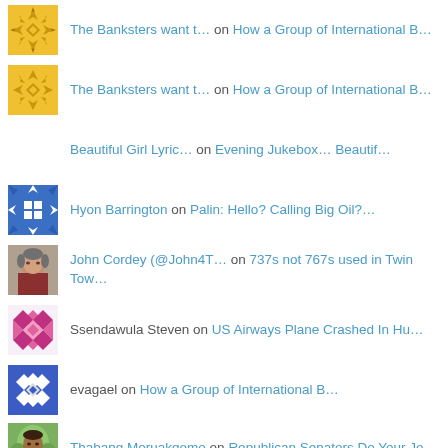The Banksters want t… on How a Group of International B…
The Banksters want t… on How a Group of International B…
Beautiful Girl Lyric… on Evening Jukebox… Beautif…
Hyon Barrington on Palin: Hello? Calling Big Oil?…
John Cordey (@John4T… on 737s not 767s used in Twin Tow…
Ssendawula Steven on US Airways Plane Crashed In Hu…
evagael on How a Group of International B…
Thabang Moruakgomo on Republican Senators Do Your Jo…